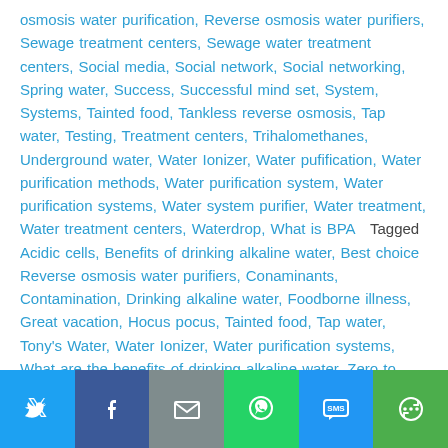osmosis water purification, Reverse osmosis water purifiers, Sewage treatment centers, Sewage water treatment centers, Social media, Social network, Social networking, Spring water, Success, Successful mind set, System, Systems, Tainted food, Tankless reverse osmosis, Tap water, Testing, Treatment centers, Trihalomethanes, Underground water, Water Ionizer, Water pufification, Water purification methods, Water purification system, Water purification systems, Water system purifier, Water treatment, Water treatment centers, Waterdrop, What is BPA   Tagged Acidic cells, Benefits of drinking alkaline water, Best choice Reverse osmosis water purifiers, Conaminants, Contamination, Drinking alkaline water, Foodborne illness, Great vacation, Hocus pocus, Tainted food, Tap water, Tony's Water, Water Ionizer, Water purification systems, What are the benefits of drinking alkaline water, Zero to herlo   26 Comments
[Figure (infographic): Social share bar with icons: Twitter (light blue), Facebook (dark blue), Email (gray), WhatsApp (green), SMS (blue), More/share (green)]